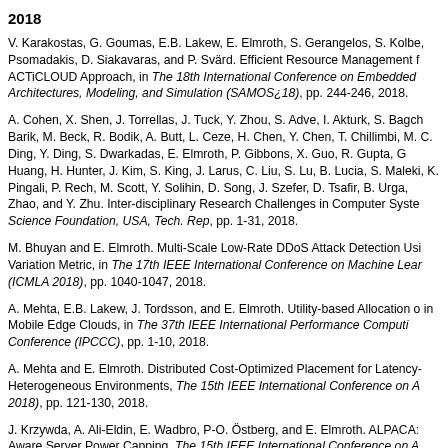2018
V. Karakostas, G. Goumas, E.B. Lakew, E. Elmroth, S. Gerangelos, S. Kolbe, Psomadakis, D. Siakavaras, and P. Svärd. Efficient Resource Management for the ACTiCLOUD Approach, in The 18th International Conference on Embedded Computer Architectures, Modeling, and Simulation (SAMOS¿18), pp. 244-246, 2018.
A. Cohen, X. Shen, J. Torrellas, J. Tuck, Y. Zhou, S. Adve, I. Akturk, S. Bagchi, Barik, M. Beck, R. Bodik, A. Butt, L. Ceze, H. Chen, Y. Chen, T. Chillimbi, M. C. Ding, Y. Ding, S. Dwarkadas, E. Elmroth, P. Gibbons, X. Guo, R. Gupta, G. Huang, H. Hunter, J. Kim, S. King, J. Larus, C. Liu, S. Lu, B. Lucia, S. Maleki, K. Pingali, P. Rech, M. Scott, Y. Solihin, D. Song, J. Szefer, D. Tsafir, B. Urga, Zhao, and Y. Zhu. Inter-disciplinary Research Challenges in Computer Systems. Science Foundation, USA, Tech. Rep, pp. 1-31, 2018.
M. Bhuyan and E. Elmroth. Multi-Scale Low-Rate DDoS Attack Detection Using Variation Metric, in The 17th IEEE International Conference on Machine Learning (ICMLA 2018), pp. 1040-1047, 2018.
A. Mehta, E.B. Lakew, J. Tordsson, and E. Elmroth. Utility-based Allocation of in Mobile Edge Clouds, in The 37th IEEE International Performance Computing Conference (IPCCC), pp. 1-10, 2018.
A. Mehta and E. Elmroth. Distributed Cost-Optimized Placement for Latency-Heterogeneous Environments, The 15th IEEE International Conference on A 2018), pp. 121-130, 2018.
J. Krzywda, A. Ali-Eldin, E. Wadbro, P-O. Östberg, and E. Elmroth. ALPACA: Aware Server Power Capping, The 15th IEEE International Conference on A 2018), pp. 41-50, 2018.